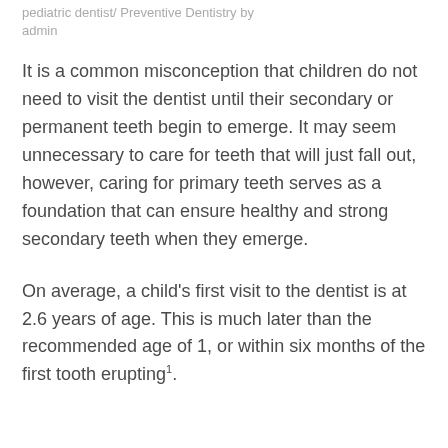pediatric dentist/ Preventive Dentistry by admin
It is a common misconception that children do not need to visit the dentist until their secondary or permanent teeth begin to emerge. It may seem unnecessary to care for teeth that will just fall out, however, caring for primary teeth serves as a foundation that can ensure healthy and strong secondary teeth when they emerge.
On average, a child's first visit to the dentist is at 2.6 years of age. This is much later than the recommended age of 1, or within six months of the first tooth erupting¹.